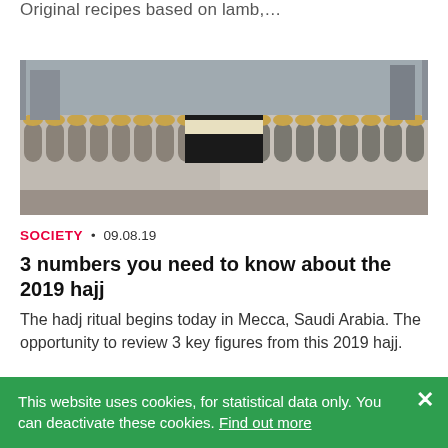Original recipes based on lamb,…
[Figure (photo): Aerial view of the Masjid al-Haram mosque in Mecca with the Kaaba in the center]
SOCIETY • 09.08.19
3 numbers you need to know about the 2019 hajj
The hadj ritual begins today in Mecca, Saudi Arabia. The opportunity to review 3 key figures from this 2019 hajj.
[Figure (photo): Industrial facility with chimneys and structures against a blue sky]
This website uses cookies, for statistical data only. You can deactivate these cookies. Find out more